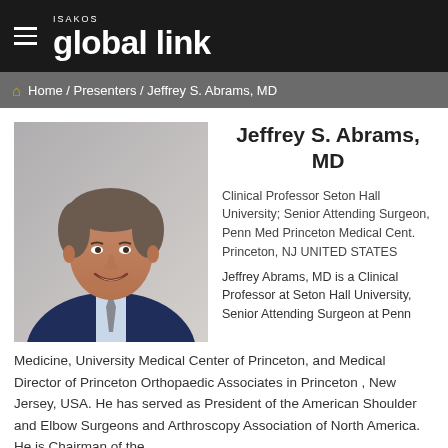ISAKOS global link
Home / Presenters / Jeffrey S. Abrams, MD
[Figure (photo): Professional headshot of Jeffrey S. Abrams, MD — a middle-aged man with short grey hair, smiling, wearing a dark navy suit with a light blue shirt and grey tie, photographed against a neutral grey background.]
Jeffrey S. Abrams, MD
Clinical Professor Seton Hall University; Senior Attending Surgeon, Penn Med Princeton Medical Cent.
Princeton, NJ UNITED STATES
Jeffrey Abrams, MD is a Clinical Professor at Seton Hall University, Senior Attending Surgeon at Penn Medicine, University Medical Center of Princeton, and Medical Director of Princeton Orthopaedic Associates in Princeton , New Jersey, USA. He has served as President of the American Shoulder and Elbow Surgeons and Arthroscopy Association of North America. He is Chairman of the